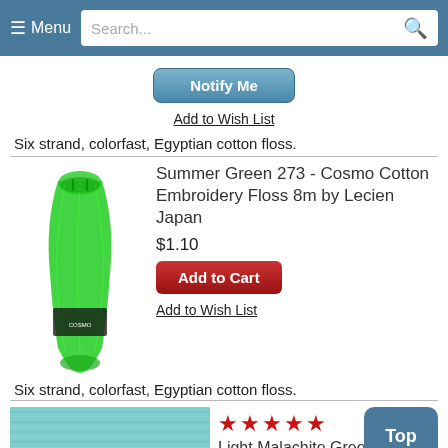☰ Menu  Search...
Notify Me
Add to Wish List
Six strand, colorfast, Egyptian cotton floss.
[Figure (photo): Green embroidery floss skein - Summer Green 273 Cosmo Cotton]
Summer Green 273 - Cosmo Cotton Embroidery Floss 8m by Lecien Japan
$1.10
Add to Cart
Add to Wish List
Six strand, colorfast, Egyptian cotton floss.
[Figure (photo): Light Malachite Green embroidery floss]
Light Malachite Green